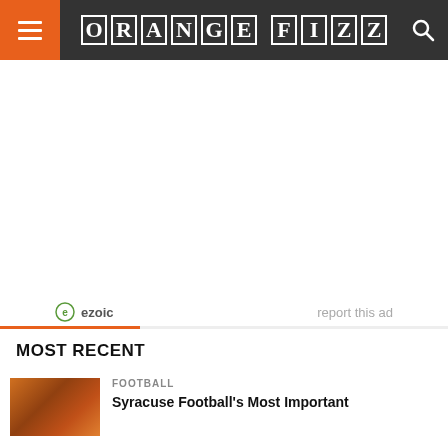ORANGE FIZZ
[Figure (other): Advertisement area with ezoic branding and 'report this ad' link]
MOST RECENT
FOOTBALL
Syracuse Football's Most Important